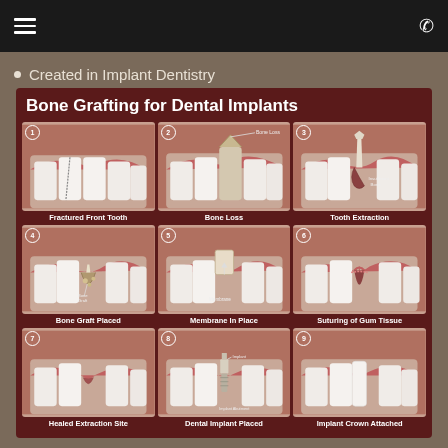☰ [menu]   📞 [phone]
Created in Implant Dentistry
[Figure (infographic): Bone Grafting for Dental Implants infographic showing 9 steps: 1. Fractured Front Tooth, 2. Bone Loss, 3. Tooth Extraction, 4. Bone Graft Placed, 5. Membrane In Place, 6. Suturing of Gum Tissue, 7. Healed Extraction Site, 8. Dental Implant Placed, 9. Implant Crown Attached]